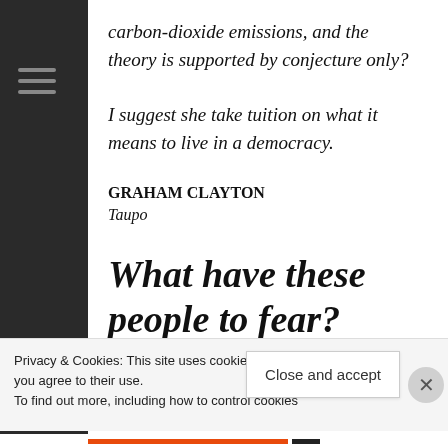carbon-dioxide emissions, and the theory is supported by conjecture only?
I suggest she take tuition on what it means to live in a democracy.
GRAHAM CLAYTON
Taupo
What have these people to fear?
Privacy & Cookies: This site uses cookies. By contin you agree to their use. To find out more, including how to control cookies Close and accept